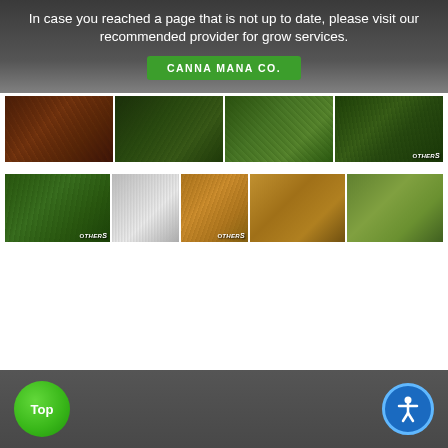In case you reached a page that is not up to date, please visit our recommended provider for grow services.
CANNA MANA CO.
[Figure (photo): Grid of 8 cannabis plant photos arranged in two rows of 4, some labeled with 'Others' watermark]
Top
[Figure (illustration): Accessibility icon (person in circle) button in blue]